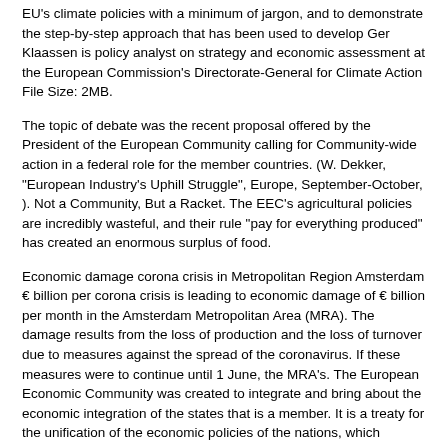EU's climate policies with a minimum of jargon, and to demonstrate the step-by-step approach that has been used to develop Ger Klaassen is policy analyst on strategy and economic assessment at the European Commission's Directorate-General for Climate Action File Size: 2MB.
The topic of debate was the recent proposal offered by the President of the European Community calling for Community-wide action in a federal role for the member countries. (W. Dekker, "European Industry's Uphill Struggle", Europe, September-October, ). Not a Community, But a Racket. The EEC's agricultural policies are incredibly wasteful, and their rule "pay for everything produced" has created an enormous surplus of food.
Economic damage corona crisis in Metropolitan Region Amsterdam € billion per corona crisis is leading to economic damage of € billion per month in the Amsterdam Metropolitan Area (MRA). The damage results from the loss of production and the loss of turnover due to measures against the spread of the coronavirus. If these measures were to continue until 1 June, the MRA's. The European Economic Community was created to integrate and bring about the economic integration of the states that is a member. It is a treaty for the unification of the economic policies of the nations, which includes the Belgium, France, Italy, The Netherland, West Germany, and Luxembourg.
Available for Download
Download PDF